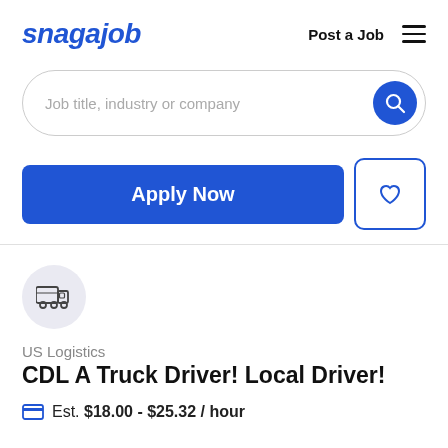snagajob   Post a Job  ≡
[Figure (screenshot): Search bar with placeholder text 'Job title, industry or company' and a blue circular search button]
[Figure (screenshot): Blue 'Apply Now' button and a white heart/save button with blue border]
[Figure (illustration): Circular light blue icon with a delivery truck/logistics truck icon]
US Logistics
CDL A Truck Driver! Local Driver!
Est. $18.00 - $25.32 / hour